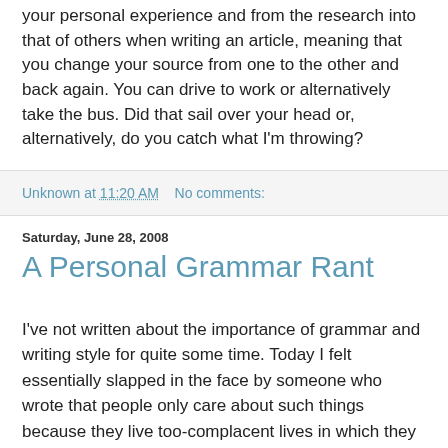your personal experience and from the research into that of others when writing an article, meaning that you change your source from one to the other and back again. You can drive to work or alternatively take the bus. Did that sail over your head or, alternatively, do you catch what I'm throwing?
Unknown at 11:20 AM    No comments:
Saturday, June 28, 2008
A Personal Grammar Rant
I've not written about the importance of grammar and writing style for quite some time. Today I felt essentially slapped in the face by someone who wrote that people only care about such things because they live too-complacent lives in which they have no larger concerns. I beg to differ.
I care about my grammar and how I use words because I cannot clearly express myself without them. An incoherent rant acts to reinforce someone's negative impression of your point of view, rather than convincing them of anything.